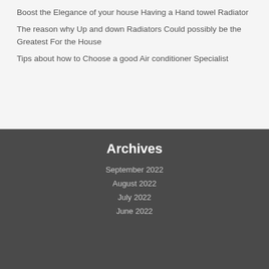Boost the Elegance of your house Having a Hand towel Radiator
The reason why Up and down Radiators Could possibly be the Greatest For the House
Tips about how to Choose a good Air conditioner Specialist
Archives
September 2022
August 2022
July 2022
June 2022